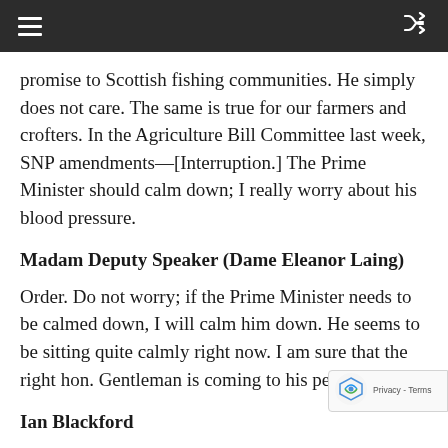≡  [shuffle icon]
promise to Scottish fishing communities. He simply does not care. The same is true for our farmers and crofters. In the Agriculture Bill Committee last week, SNP amendments—[Interruption.] The Prime Minister should calm down; I really worry about his blood pressure.
Madam Deputy Speaker (Dame Eleanor Laing)
Order. Do not worry; if the Prime Minister needs to be calmed down, I will calm him down. He seems to be sitting quite calmly right now. I am sure that the right hon. Gentleman is coming to his peroration.
Ian Blackford
I am nearly there, Madam Deputy Speaker, but—